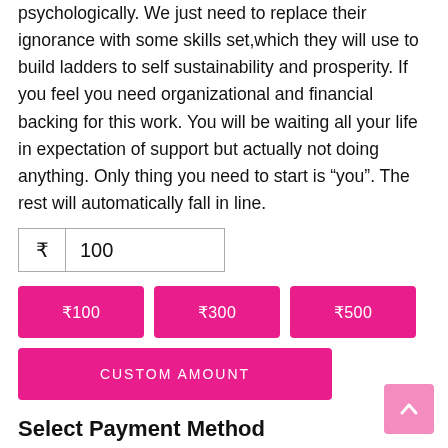psychologically. We just need to replace their ignorance with some skills set,which they will use to build ladders to self sustainability and prosperity. If you feel you need organizational and financial backing for this work. You will be waiting all your life in expectation of support but actually not doing anything. Only thing you need to start is “you”. The rest will automatically fall in line.
[Figure (screenshot): Input field with rupee symbol and value 100]
[Figure (screenshot): Three pink preset amount buttons: ₹100, ₹300, ₹500]
[Figure (screenshot): Pink CUSTOM AMOUNT button]
[Figure (screenshot): Pink back-to-top arrow button in bottom right]
Select Payment Method